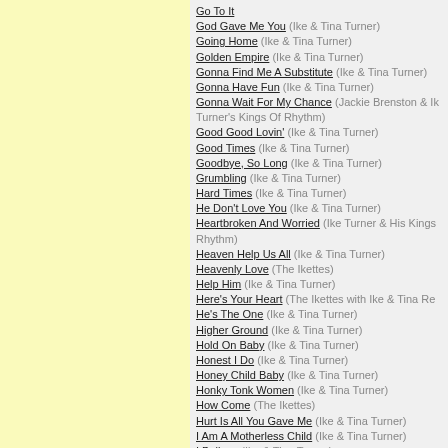Go To It
God Gave Me You (Ike & Tina Turner)
Going Home (Ike & Tina Turner)
Golden Empire (Ike & Tina Turner)
Gonna Find Me A Substitute (Ike & Tina Turner)
Gonna Have Fun (Ike & Tina Turner)
Gonna Wait For My Chance (Jackie Brenston & Ike Turner's Kings Of Rhythm)
Good Good Lovin' (Ike & Tina Turner)
Good Times (Ike & Tina Turner)
Goodbye, So Long (Ike & Tina Turner)
Grumbling (Ike & Tina Turner)
Hard Times (Ike & Tina Turner)
He Don't Love You (Ike & Tina Turner)
Heartbroken And Worried (Ike Turner & His Kings Of Rhythm)
Heaven Help Us All (Ike & Tina Turner)
Heavenly Love (The Ikettes)
Help Him (Ike & Tina Turner)
Here's Your Heart (The Ikettes with Ike & Tina Re...)
He's The One (Ike & Tina Turner)
Higher Ground (Ike & Tina Turner)
Hold On Baby (Ike & Tina Turner)
Honest I Do (Ike & Tina Turner)
Honey Child Baby (Ike & Tina Turner)
Honky Tonk Women (Ike & Tina Turner)
How Come (The Ikettes)
Hurt Is All You Gave Me (Ike & Tina Turner)
I Am A Motherless Child (Ike & Tina Turner)
I Believe (Ike & Tina Turner)
I Better Getta Steppin' (Ike & Tina Turner)
I Can't Believe (Ike & Tina Turner)
I Can't Believe What You Say (Ike & Tina Turner)
I Can't Stop Loving You (Ike & Tina Turner)
I Dig You (Ike & Tina Turner)
I Do Love You (The Ikettes)
I Don't Need (Ike & Tina Turner)
I Don't Want Nobody...